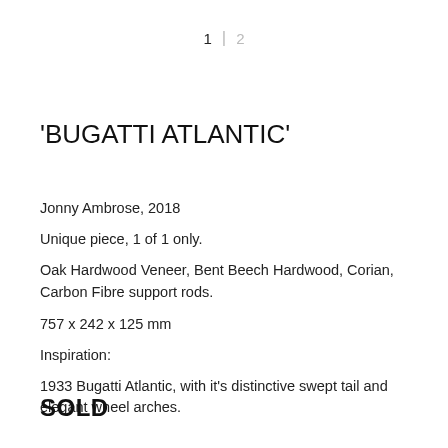1 | 2
'BUGATTI ATLANTIC'
Jonny Ambrose, 2018
Unique piece, 1 of 1 only.
Oak Hardwood Veneer, Bent Beech Hardwood, Corian, Carbon Fibre support rods.
757 x 242 x 125 mm
Inspiration:
1933 Bugatti Atlantic, with it's distinctive swept tail and elegant wheel arches.
SOLD